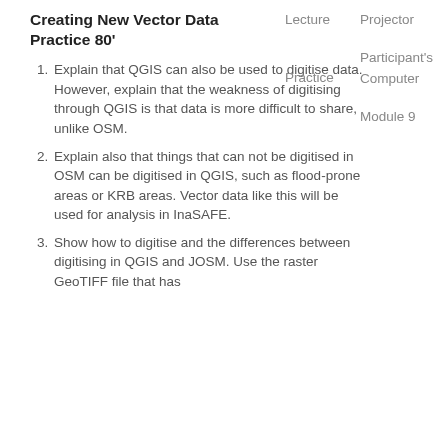Creating New Vector Data Practice 80'
Lecture
Projector
Practice
Participant's Computer
Module 9
Explain that QGIS can also be used to digitise data. However, explain that the weakness of digitising through QGIS is that data is more difficult to share, unlike OSM.
Explain also that things that can not be digitised in OSM can be digitised in QGIS, such as flood-prone areas or KRB areas. Vector data like this will be used for analysis in InaSAFE.
Show how to digitise and the differences between digitising in QGIS and JOSM. Use the raster GeoTIFF file that has